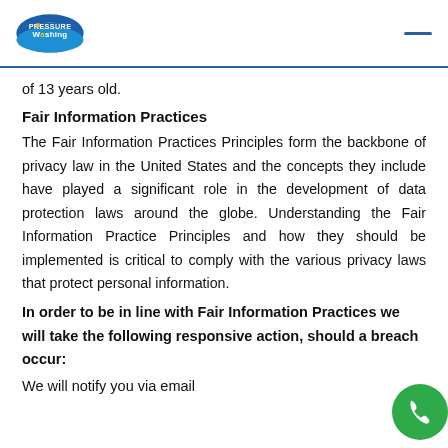Pressure Washing [logo] — navigation
of 13 years old.
Fair Information Practices
The Fair Information Practices Principles form the backbone of privacy law in the United States and the concepts they include have played a significant role in the development of data protection laws around the globe. Understanding the Fair Information Practice Principles and how they should be implemented is critical to comply with the various privacy laws that protect personal information.
In order to be in line with Fair Information Practices we will take the following responsive action, should a breach occur:
We will notify you via email